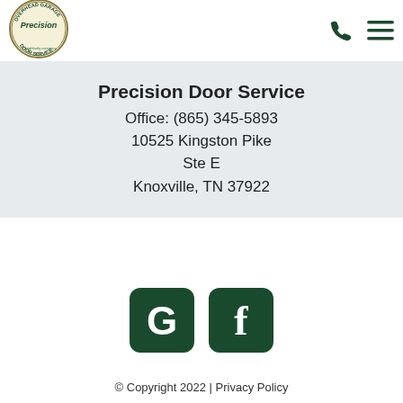[Figure (logo): Precision Door Service logo — circular badge with 'Overhead Garage' around top, 'Precision' in center, 'Door Service' at bottom, with tagline 'a neighborly company']
Precision Door Service
Office: (865) 345-5893
10525 Kingston Pike
Ste E
Knoxville, TN 37922
[Figure (logo): Google icon — dark green rounded square with white G letter]
[Figure (logo): Facebook icon — dark green rounded square with white f letter]
© Copyright 2022 | Privacy Policy